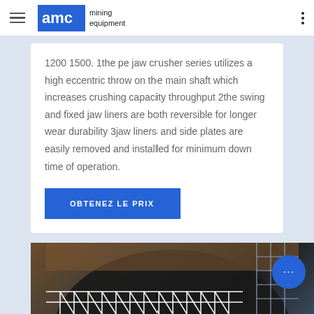AMC mining equipment
1200 1500. 1the pe jaw crusher series utilizes a high eccentric throw on the main shaft which increases crushing capacity throughput 2the swing and fixed jaw liners are both reversible for longer wear durability 3jaw liners and side plates are easily removed and installed for minimum down time of operation.
[Figure (photo): Industrial mining tunnel or large structure with white truss/scaffolding visible in the foreground and a dark curved arch structure in the background]